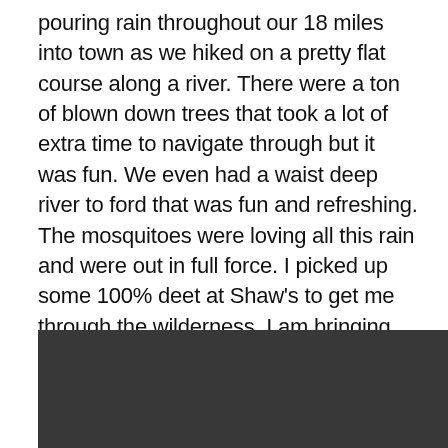pouring rain throughout our 18 miles into town as we hiked on a pretty flat course along a river. There were a ton of blown down trees that took a lot of extra time to navigate through but it was fun. We even had a waist deep river to ford that was fun and refreshing. The mosquitoes were loving all this rain and were out in full force. I picked up some 100% deet at Shaw's to get me through the wilderness. I am bringing out the professional grade stuff for the last push. I'll leave you with a short hiking video that I took the other day. I may not have cell service for the next few days but I'll blog for sure if I do.
[Figure (photo): Dark/black rectangular image area, likely a video thumbnail or photo, with very dark background.]